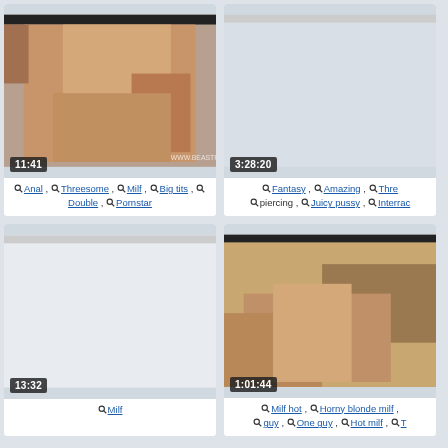[Figure (screenshot): Video thumbnail top-left with duration 11:41]
Anal , Threesome , Milf , Big tits , Double , Pornstar
[Figure (screenshot): Video thumbnail top-right, mostly blank/loading, duration 3:28:20]
Fantasy , Amazing , Thre... , piercing , Juicy pussy , Interrac...
[Figure (screenshot): Video thumbnail bottom-left, blank/loading, duration 13:32]
Milf
[Figure (screenshot): Video thumbnail bottom-right with duration 1:01:44]
Milf hot , Horny blonde milf , guy , One guy , Hot milf , T...